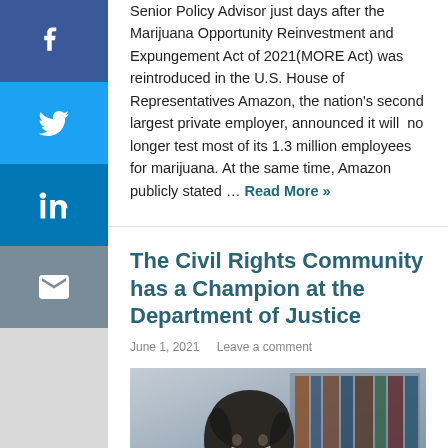Senior Policy Advisor just days after the Marijuana Opportunity Reinvestment and Expungement Act of 2021(MORE Act) was reintroduced in the U.S. House of Representatives Amazon, the nation's second largest private employer, announced it will no longer test most of its 1.3 million employees for marijuana. At the same time, Amazon publicly stated … Read More »
The Civil Rights Community has a Champion at the Department of Justice
June 1, 2021   Leave a comment
[Figure (photo): Portrait photo of a person with dark hair in front of a bookshelf]